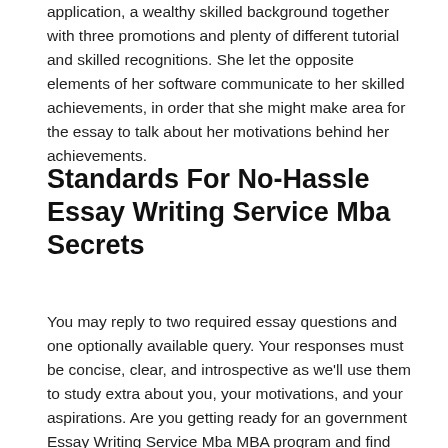application, a wealthy skilled background together with three promotions and plenty of different tutorial and skilled recognitions. She let the opposite elements of her software communicate to her skilled achievements, in order that she might make area for the essay to talk about her motivations behind her achievements.
Standards For No-Hassle Essay Writing Service Mba Secrets
You may reply to two required essay questions and one optionally available query. Your responses must be concise, clear, and introspective as we'll use them to study extra about you, your motivations, and your aspirations. Are you getting ready for an government Essay Writing Service Mba MBA program and find yourself getting overwhelmed? You do not know find out how to begin and you have no expertise in writing a...